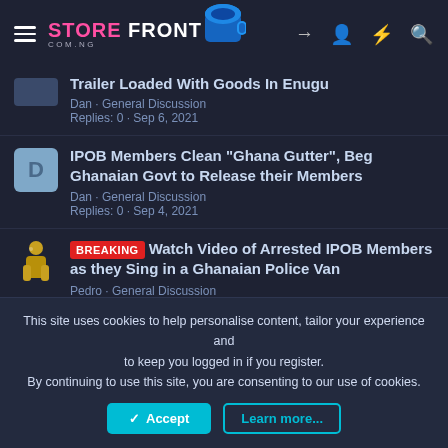STOREFRONT COM.NG
Trailer Loaded With Goods In Enugu
Dan · General Discussion
Replies: 0 · Sep 6, 2021
IPOB Members Clean "Ghana Gutter", Beg Ghanaian Govt to Release their Members
Dan · General Discussion
Replies: 0 · Sep 4, 2021
BREAKING Watch Video of Arrested IPOB Members as they Sing in a Ghanaian Police Van
Pedro · General Discussion
Replies: 0 · Aug 29, 2021
This site uses cookies to help personalise content, tailor your experience and to keep you logged in if you register.
By continuing to use this site, you are consenting to our use of cookies.